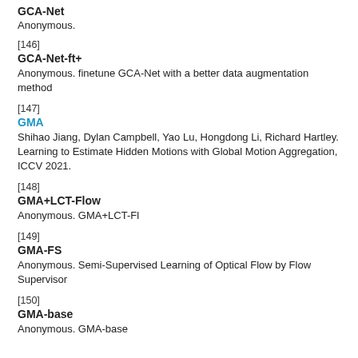GCA-Net
Anonymous.
[146]
GCA-Net-ft+
Anonymous. finetune GCA-Net with a better data augmentation method
[147]
GMA
Shihao Jiang, Dylan Campbell, Yao Lu, Hongdong Li, Richard Hartley. Learning to Estimate Hidden Motions with Global Motion Aggregation, ICCV 2021.
[148]
GMA+LCT-Flow
Anonymous. GMA+LCT-Fl
[149]
GMA-FS
Anonymous. Semi-Supervised Learning of Optical Flow by Flow Supervisor
[150]
GMA-base
Anonymous. GMA-base